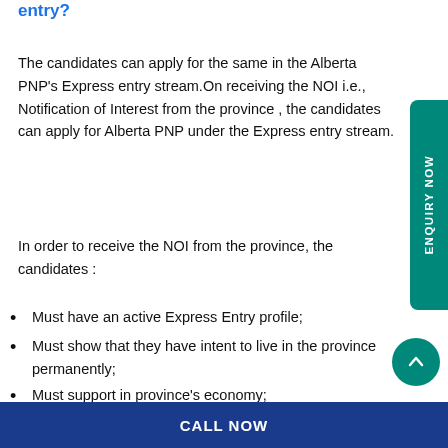entry?
The candidates can apply for the same in the Alberta PNP's Express entry stream.On receiving the NOI i.e., Notification of Interest from the province , the candidates can apply for Alberta PNP under the Express entry stream.
In order to receive the NOI from the province, the candidates :
Must have an active Express Entry profile;
Must show that they have intent to live in the province permanently;
Must support in province's economy;
Must have a minimum CRS score of 300 points
CALL NOW